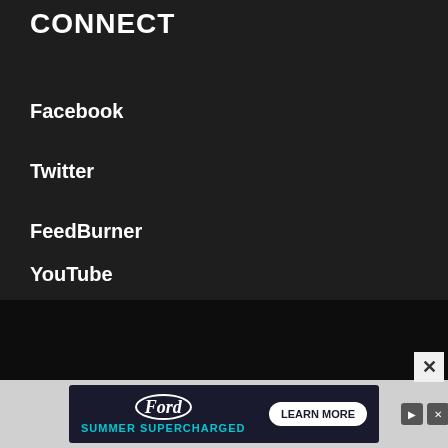CONNECT
Facebook
Twitter
FeedBurner
YouTube
© Copyright 2010-2022 AppleToolBox · All Rights Reserved
This site and its content are in no way affiliated or endorsed by Apple, Inc. · Reproduction without explicit permission is
[Figure (advertisement): Ford Summer Supercharged ad banner with Ford logo, text SUMMER SUPERCHARGED, and LEARN MORE button]